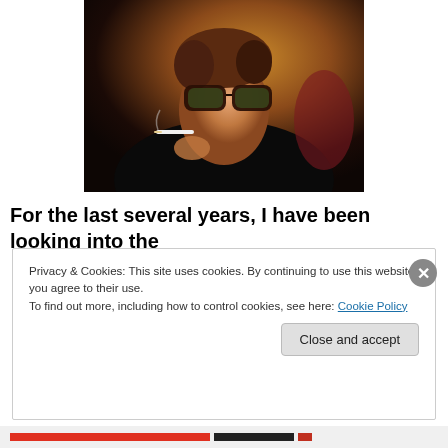[Figure (photo): A woman wearing large cat-eye sunglasses and a dark outfit, holding a cigarette near her face. Vintage-style photograph with warm tones.]
For the last several years, I have been looking into the
Privacy & Cookies: This site uses cookies. By continuing to use this website, you agree to their use.
To find out more, including how to control cookies, see here: Cookie Policy